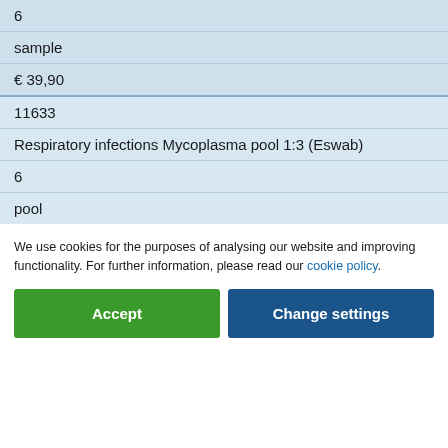| 6 |
| sample |
| € 39,90 |
| 11633 |
| Respiratory infections Mycoplasma pool 1:3 (Eswab) |
| 6 |
| pool |
We use cookies for the purposes of analysing our website and improving functionality. For further information, please read our cookie policy.
Accept
Change settings